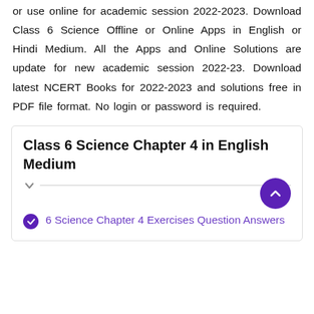or use online for academic session 2022-2023. Download Class 6 Science Offline or Online Apps in English or Hindi Medium. All the Apps and Online Solutions are update for new academic session 2022-23. Download latest NCERT Books for 2022-2023 and solutions free in PDF file format. No login or password is required.
Class 6 Science Chapter 4 in English Medium
6 Science Chapter 4 Exercises Question Answers